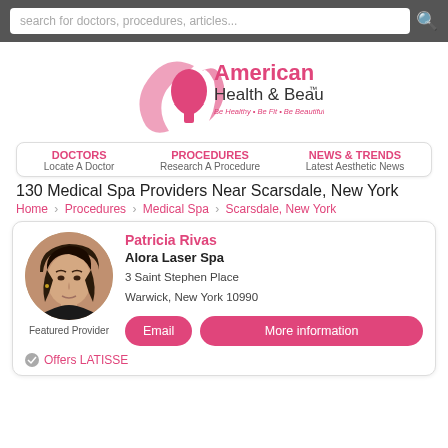search for doctors, procedures, articles...
[Figure (logo): American Health & Beauty logo with pink woman silhouette. Tagline: Be Healthy • Be Fit • Be Beautiful]
DOCTORS Locate A Doctor   PROCEDURES Research A Procedure   NEWS & TRENDS Latest Aesthetic News
130 Medical Spa Providers Near Scarsdale, New York
Home   Procedures   Medical Spa   Scarsdale, New York
Patricia Rivas
Alora Laser Spa
3 Saint Stephen Place
Warwick, New York 10990
Featured Provider
Email   More information
Offers LATISSE